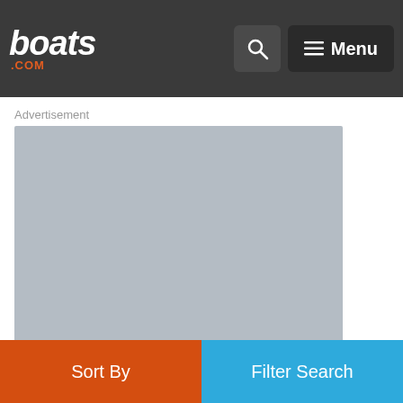boats.com — Search and Menu navigation header
Advertisement
[Figure (other): Gray advertisement placeholder rectangle]
Sort By
Filter Search